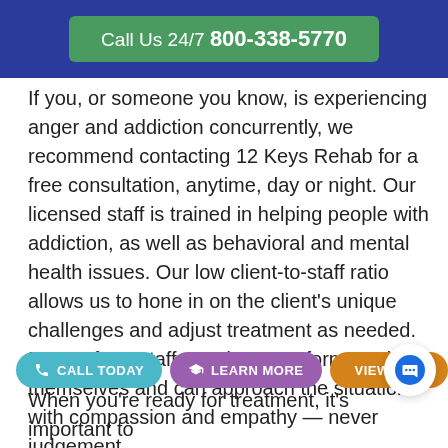Call Us 24/7 800-338-5770
If you, or someone you know, is experiencing anger and addiction concurrently, we recommend contacting 12 Keys Rehab for a free consultation, anytime, day or night. Our licensed staff is trained in helping people with addiction, as well as behavioral and mental health issues. Our low client-to-staff ratio allows us to hone in on the client's unique challenges and adjust treatment as needed. Many of our staff members are former addicts themselves and can approach the situation with compassion and empathy — never judgement.
[Figure (other): Three CTA buttons: CALL TODAY (teal), LEARN MORE (purple), VIEW PROG... (orange), and a chat bubble icon]
When you're ready for treatment, it's important to